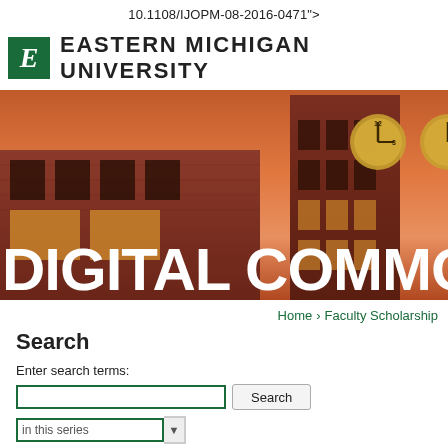10.1108/IJOPM-08-2016-0471">
[Figure (logo): Eastern Michigan University logo: green box with italic white E, followed by bold uppercase text EASTERN MICHIGAN UNIVERSITY]
[Figure (photo): Hero banner photo of Eastern Michigan University brick building with clock tower at sunset/dusk, with large white bold text overlay reading DIGITAL COMMO (truncated)]
Home > Faculty Scholarship
Search
Enter search terms:
in this series    M